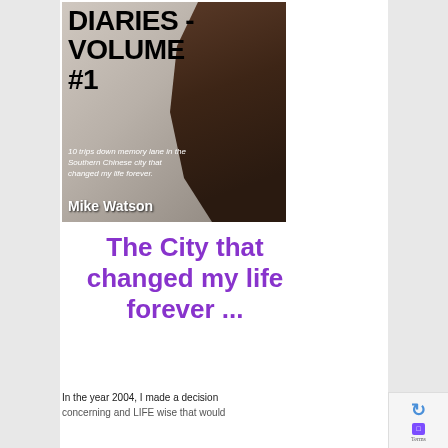[Figure (illustration): Book cover for 'DIARIES - VOLUME #1' by Mike Watson. Shows a large dark foot/sole in the foreground with a blurred figure in the background. Text on cover reads '10 trips down memory lane in the Southern Chinese city that changed my life forever.' Author name Mike Watson at bottom.]
The City that changed my life forever ...
In the year 2004, I made a decision concerning and LIFE wise that would